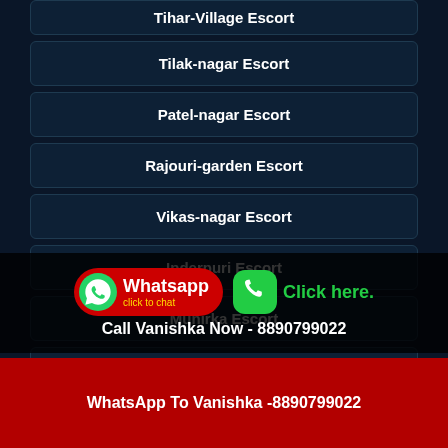Tihar-Village Escort
Tilak-nagar Escort
Patel-nagar Escort
Rajouri-garden Escort
Vikas-nagar Escort
Inderpuri Escort
Munirka Escort
Lajpat-nagar Escort
Whatsapp click to chat | Click here. | Call Vanishka Now - 8890799022
WhatsApp To Vanishka -8890799022